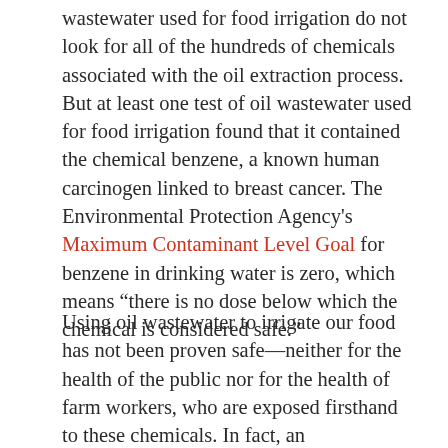wastewater used for food irrigation do not look for all of the hundreds of chemicals associated with the oil extraction process. But at least one test of oil wastewater used for food irrigation found that it contained the chemical benzene, a known human carcinogen linked to breast cancer. The Environmental Protection Agency's Maximum Contaminant Level Goal for benzene in drinking water is zero, which means “there is no dose below which the chemical is considered safe.”
Using oil wastewater to irrigate our food has not been proven safe—neither for the health of the public nor for the health of farm workers, who are exposed firsthand to these chemicals. In fact, an